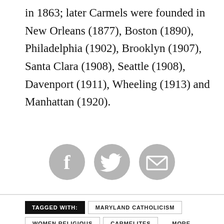in 1863; later Carmels were founded in New Orleans (1877), Boston (1890), Philadelphia (1902), Brooklyn (1907), Santa Clara (1908), Seattle (1908), Davenport (1911), Wheeling (1913) and Manhattan (1920).
[Figure (infographic): Three circular gray social sharing icons: Facebook (f), Twitter (bird), and Email (envelope)]
TAGGED WITH: MARYLAND CATHOLICISM  WOMEN RELIGIOUS  CARMELITES  ...MORE